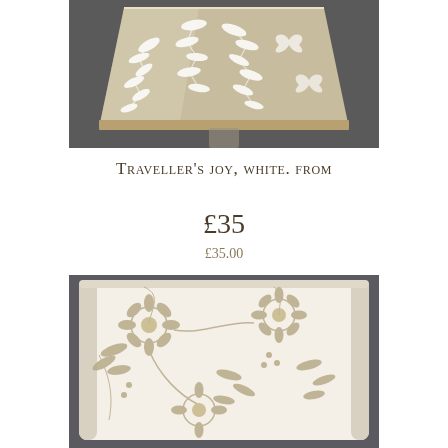[Figure (photo): Close-up photo of a lampshade with white leaf and butterfly pattern on a beige/taupe background, shot against a dark grey background. The lampshade is tapered (cone) shape. A clear glass or acrylic lamp stand is visible below.]
Traveller's joy, white. from £35
£35.00
[Figure (photo): Close-up photo of a cylindrical lampshade with a floral/botanical pattern in beige/khaki on a white background, showing sunflower-like blooms and leaves against a grey background.]